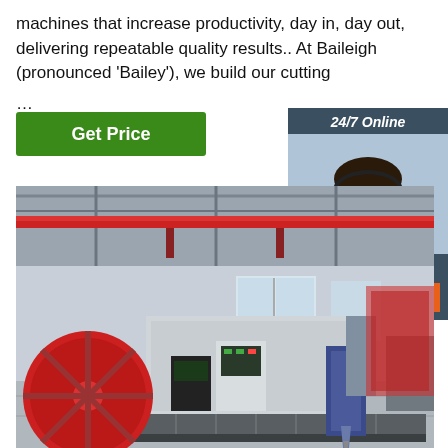machines that increase productivity, day in, day out, delivering repeatable quality results.. At Baileigh (pronounced 'Bailey'), we build our cutting ...
[Figure (other): Green 'Get Price' button]
[Figure (other): 24/7 Online chat widget with customer service agent photo, 'Click here for free chat!' text, and orange QUOTATION button]
[Figure (photo): Industrial factory floor showing large CNC/cutting machine with red circular component, control panels, and large warehouse space with red overhead crane and windows.]